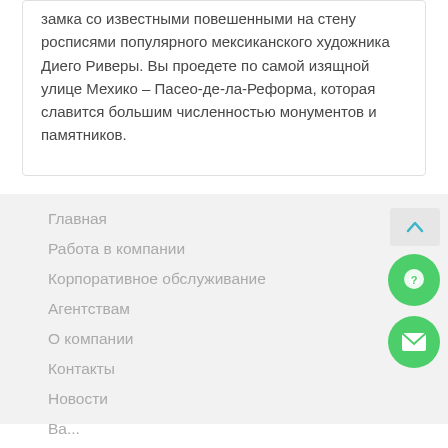замка со известными повешенными на стену росписями популярного мексиканского художника Диего Риверы. Вы проедете по самой изящной улице Мехико – Пасео-де-ла-Реформа, которая славится большим численностью монументов и памятников.
Главная
Работа в компании
Корпоративное обслуживание
Агентствам
О компании
Контакты
Новости
Вакансии